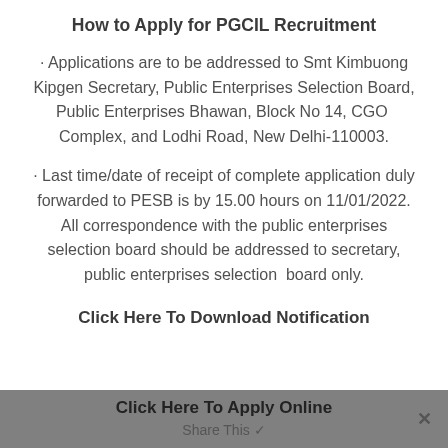How to Apply for PGCIL Recruitment
· Applications are to be addressed to Smt Kimbuong Kipgen Secretary, Public Enterprises Selection Board, Public Enterprises Bhawan, Block No 14, CGO Complex, and Lodhi Road, New Delhi-110003.
· Last time/date of receipt of complete application duly forwarded to PESB is by 15.00 hours on 11/01/2022. All correspondence with the public enterprises selection board should be addressed to secretary, public enterprises selection board only.
Click Here To Download Notification
Click Here To Apply Online  Share This ✓  ×